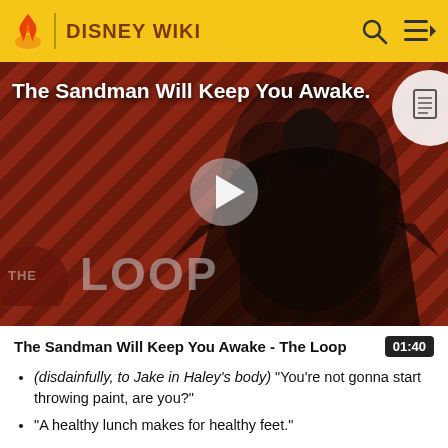DISNEY WIKI
[Figure (screenshot): Video thumbnail for 'The Sandman Will Keep You Awake - The Loop' showing a dark-cloaked figure against a red diagonal-striped background with a play button overlay and 'THE LOOP' text at bottom left.]
The Sandman Will Keep You Awake - The Loop  01:40
(disdainfully, to Jake in Haley's body) "You're not gonna start throwing paint, are you?"
"A healthy lunch makes for healthy feet."